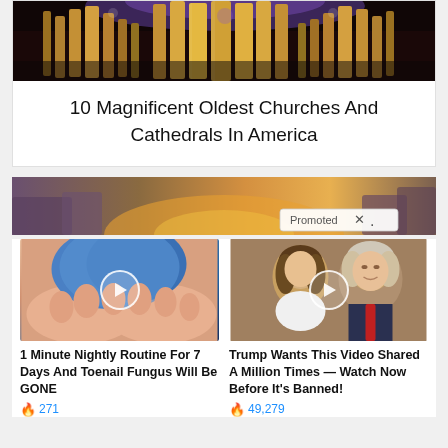[Figure (photo): Church organ pipes interior photo, golden brown tones]
10 Magnificent Oldest Churches And Cathedrals In America
[Figure (photo): Promoted banner image showing rock formations at sunset with purple tones]
[Figure (photo): Thumbnail of feet with blue yarn/toenail fungus treatment video]
1 Minute Nightly Routine For 7 Days And Toenail Fungus Will Be GONE
🔥 271
[Figure (photo): Thumbnail of Melania and Donald Trump, video thumbnail]
Trump Wants This Video Shared A Million Times — Watch Now Before It's Banned!
🔥 49,279